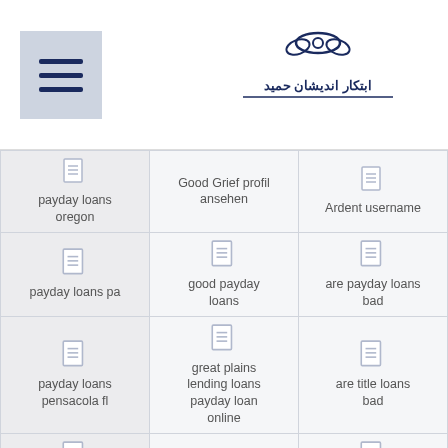Navigation menu and logo header
| Col1 | Col2 | Col3 |
| --- | --- | --- |
| payday loans oregon | Good Grief profil ansehen | Ardent username |
| payday loans pa | good payday loans | are payday loans bad |
| payday loans pensacola fl | great plains lending loans payday loan online | are title loans bad |
| payday loans phoenix | green singles kosten | Arizona Online Payday Loan |
| [icon] | [icon] | [icon] |